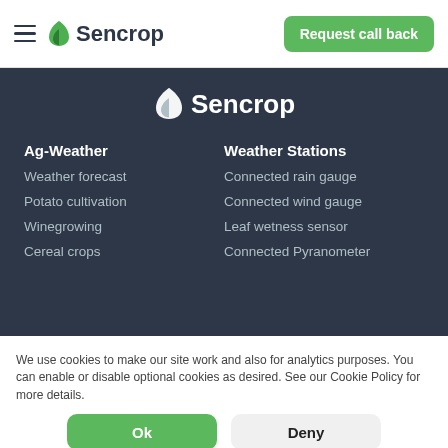Sencrop — Request call back
Sencrop
Ag-Weather
Weather forecast
Potato cultivation
Winegrowing
Cereal crops
Weather Stations
Connected rain gauge
Connected wind gauge
Leaf wetness sensor
Connected Pyranometer
We use cookies to make our site work and also for analytics purposes. You can enable or disable optional cookies as desired. See our Cookie Policy for more details.